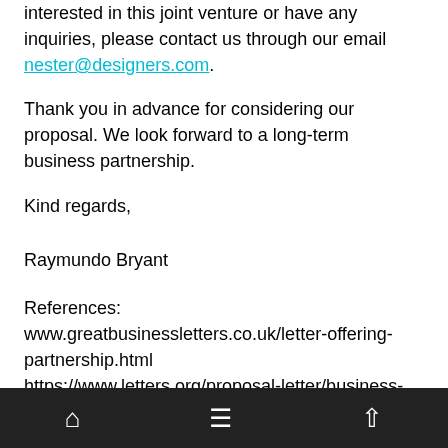interested in this joint venture or have any inquiries, please contact us through our email nester@designers.com.
Thank you in advance for considering our proposal. We look forward to a long-term business partnership.
Kind regards,
Raymundo Bryant
References:
www.greatbusinessletters.co.uk/letter-offering-partnership.html
https://www.letters.org/proposal-letter/business-partnership-proposal-letter.html
https://www.kuliahbahasainggris.com/contoh-surat-penawaran-kerjasama-dalam-bahasa-inggris-beserta-artinya